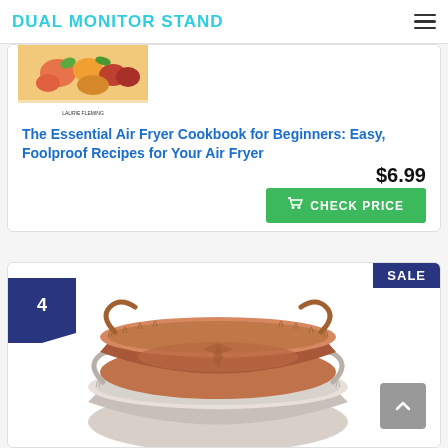DUAL MONITOR STAND
[Figure (photo): Book cover partially visible at top of product card — The Essential Air Fryer Cookbook for Beginners]
The Essential Air Fryer Cookbook for Beginners: Easy, Foolproof Recipes for Your Air Fryer
$6.99
CHECK PRICE
[Figure (photo): Two silicone air fryer basket liners, one terracotta/brown on top, one light gray below, both with fluted rims and handles, showing number badge '4' and 'SALE' badge]
4
SALE